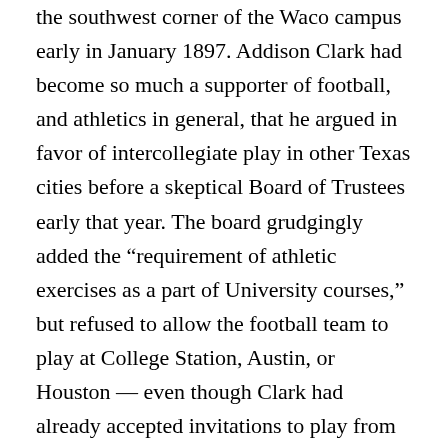the southwest corner of the Waco campus early in January 1897. Addison Clark had become so much a supporter of football, and athletics in general, that he argued in favor of intercollegiate play in other Texas cities before a skeptical Board of Trustees early that year. The board grudgingly added the “requirement of athletic exercises as a part of University courses,” but refused to allow the football team to play at College Station, Austin, or Houston — even though Clark had already accepted invitations to play from A&M, UT and a Houston team. Discouraged, but not disbanded, the school’s football enthusiasts pressed forward, reorganizing the Athletic Association in September, and appointing as manager W.O. Stephens, who filled most of the functions of a modern athletic director and equipment manager. Stephens raised enough money to hire a coach, Joe Y. Field, who arrived on Oct. 1.
Field conducted his first practice and became well known...